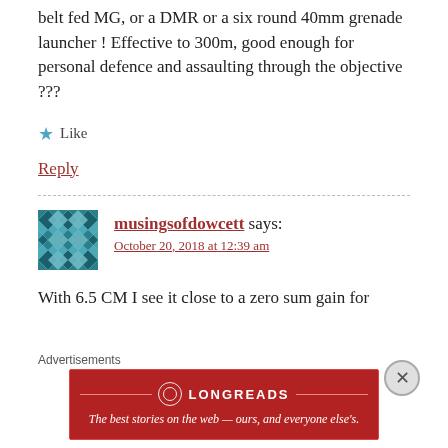belt fed MG, or a DMR or a six round 40mm grenade launcher ! Effective to 300m, good enough for personal defence and assaulting through the objective ???
★ Like
Reply
musingsofdowcett says:
October 20, 2018 at 12:39 am
With 6.5 CM I see it close to a zero sum gain for
Advertisements
[Figure (logo): Longreads advertisement banner: red background with Longreads logo and text 'The best stories on the web — ours, and everyone else's.']